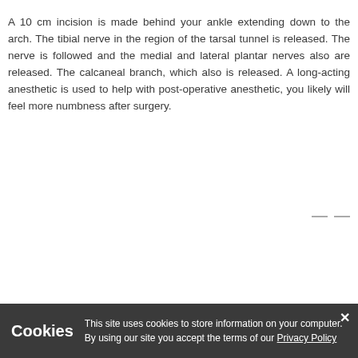A 10 cm incision is made behind your ankle extending down to the arch. The tibial nerve in the region of the tarsal tunnel is released. The nerve is followed and the medial and lateral plantar nerves also are released. The calcaneal branch, which also is released. A long-acting anesthetic is used to help with post-operative anesthetic, you likely will feel more numbness after surgery.
Cookies  This site uses cookies to store information on your computer. By using our site you accept the terms of our Privacy Policy